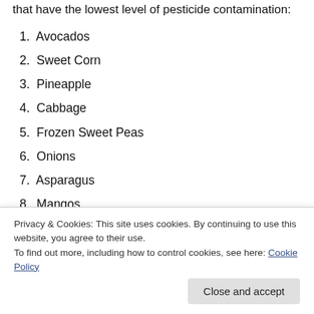The Clean Fifteen. The following are the groups foods that have the lowest level of pesticide contamination:
1. Avocados
2. Sweet Corn
3. Pineapple
4. Cabbage
5. Frozen Sweet Peas
6. Onions
7. Asparagus
8. Mangos
9. Papaya
14. Cantaloupe
Privacy & Cookies: This site uses cookies. By continuing to use this website, you agree to their use. To find out more, including how to control cookies, see here: Cookie Policy